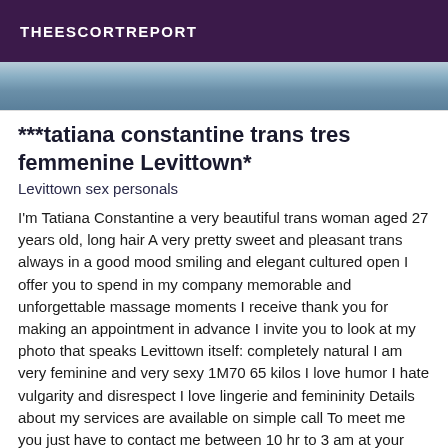THEESCORTREPORT
[Figure (photo): Partial photo strip showing clothing/fabric at top of listing]
***tatiana constantine trans tres femmenine Levittown*
Levittown sex personals
I'm Tatiana Constantine a very beautiful trans woman aged 27 years old, long hair A very pretty sweet and pleasant trans always in a good mood smiling and elegant cultured open I offer you to spend in my company memorable and unforgettable massage moments I receive thank you for making an appointment in advance I invite you to look at my photo that speaks Levittown itself: completely natural I am very feminine and very sexy 1M70 65 kilos I love humor I hate vulgarity and disrespect I love lingerie and femininity Details about my services are available on simple call To meet me you just have to contact me between 10 hr to 3 am at your convenience Appointments are taken the